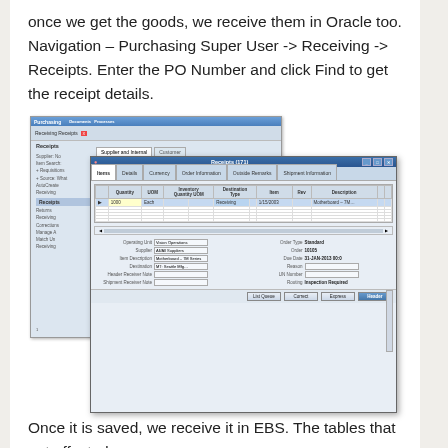once we get the goods, we receive them in Oracle too. Navigation - Purchasing Super User -> Receiving -> Receipts. Enter the PO Number and click Find to get the receipt details.
[Figure (screenshot): Oracle EBS Receiving Receipts screen showing two overlapping windows: background window shows the Receipts navigation menu with items like Returns, Receiving, Corrections, Manage, Match Unordered, and more; foreground window shows the receipts detail form with tabs (Items, Details, Currency, Order Information, Outside Remarks, Shipment Information) and a data table with columns Quantity, UOM, Inventory Quantity UOM, Destination Type, Item, Rev, Description. The form footer shows fields: Operating Unit (Vision Operations), Supplier (All/All Suppliers), Item Description (Motherboard - 7M Series), Destination (M7: Seattle Mfg...), Header Receiver Note, Shipment Receiver Note, Order Type (Standard), Order (10105), Due Date (31-JAN-2013 00:0), Reason, UN Number, Routing (Inspection Required). Bottom buttons: List Queue, Correct, Express, Header.]
Once it is saved, we receive it in EBS. The tables that get affected are: